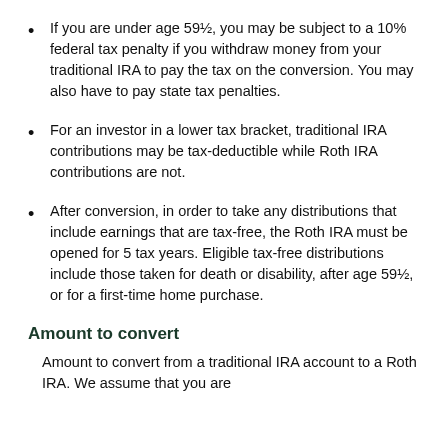If you are under age 59½, you may be subject to a 10% federal tax penalty if you withdraw money from your traditional IRA to pay the tax on the conversion. You may also have to pay state tax penalties.
For an investor in a lower tax bracket, traditional IRA contributions may be tax-deductible while Roth IRA contributions are not.
After conversion, in order to take any distributions that include earnings that are tax-free, the Roth IRA must be opened for 5 tax years. Eligible tax-free distributions include those taken for death or disability, after age 59½, or for a first-time home purchase.
Amount to convert
Amount to convert from a traditional IRA account to a Roth IRA. We assume that you are